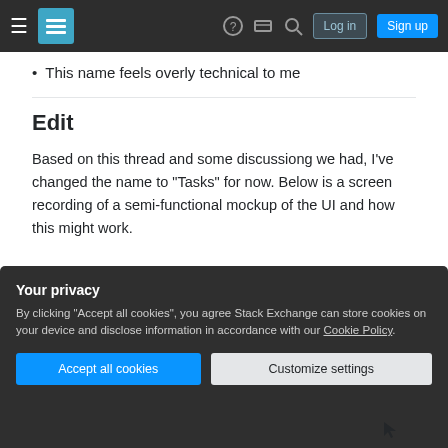Stack Exchange navigation bar with Log in and Sign up buttons
This name feels overly technical to me
Edit
Based on this thread and some discussiong we had, I've changed the name to "Tasks" for now. Below is a screen recording of a semi-functional mockup of the UI and how this might work.
[Figure (screenshot): Partial screenshot showing Stack Exchange toolbar icons including mail icon with red badge showing 3 notifications, and a vertical scrollbar on the right]
Your privacy
By clicking "Accept all cookies", you agree Stack Exchange can store cookies on your device and disclose information in accordance with our Cookie Policy.
Accept all cookies   Customize settings